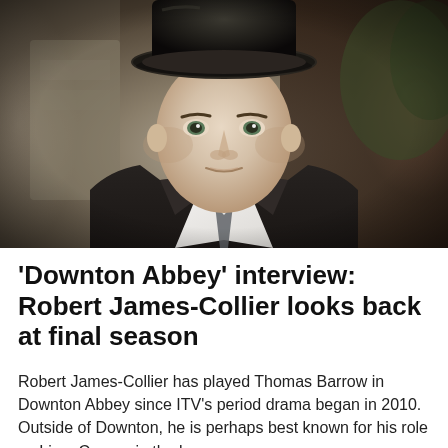[Figure (photo): A man in a black top hat and dark suit with a white shirt and dark tie, looking directly at the camera with a serious expression. The background is blurred, showing stone architecture and greenery.]
'Downton Abbey' interview: Robert James-Collier looks back at final season
Robert James-Collier has played Thomas Barrow in Downton Abbey since ITV's period drama began in 2010. Outside of Downton, he is perhaps best known for his role as Liam Connor in the long...